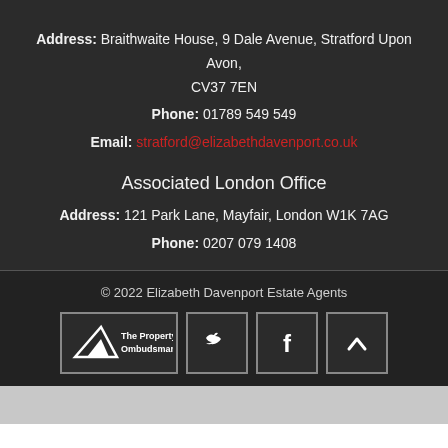Address: Braithwaite House, 9 Dale Avenue, Stratford Upon Avon, CV37 7EN
Phone: 01789 549 549
Email: stratford@elizabethdavenport.co.uk
Associated London Office
Address: 121 Park Lane, Mayfair, London W1K 7AG
Phone: 0207 079 1408
© 2022 Elizabeth Davenport Estate Agents
[Figure (logo): The Property Ombudsman logo with triangle shape]
[Figure (logo): Twitter bird icon in white on dark background]
[Figure (logo): Facebook f icon in white on dark background]
[Figure (logo): Up caret/chevron icon in white on dark background]